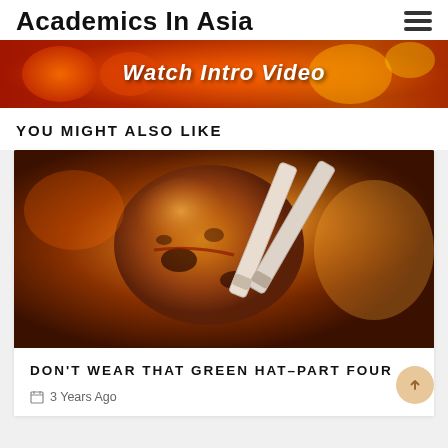Academics In Asia
[Figure (photo): Banner with text 'Watch Intro Video' overlaid on a red/orange lantern background]
YOU MIGHT ALSO LIKE
[Figure (photo): Close-up photo of a piece of grilled/glazed food held by chopsticks, with a warm orange-red background]
DON'T WEAR THAT GREEN HAT–PART FOUR
3 Years Ago